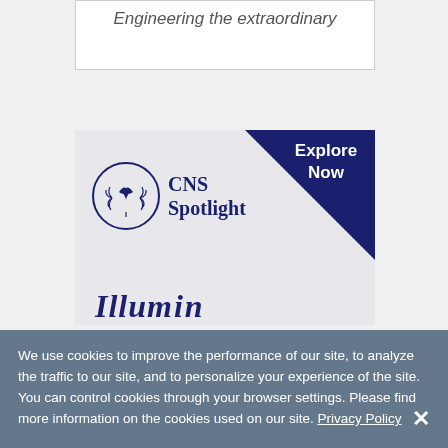[Figure (illustration): Top banner with italic text 'Engineering the extraordinary' on white background with gray border]
[Figure (logo): CNS Spotlight advertisement with navy blue triangle in top-right corner showing 'Explore Now', CNS Spotlight logo with laurel wreath emblem, and partial italic text 'Illuminating' at the bottom]
We use cookies to improve the performance of our site, to analyze the traffic to our site, and to personalize your experience of the site. You can control cookies through your browser settings. Please find more information on the cookies used on our site. Privacy Policy